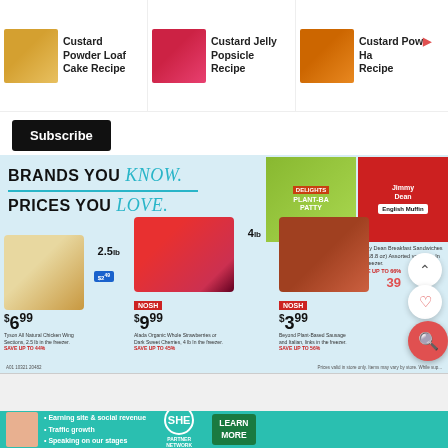[Figure (screenshot): Website screenshots showing recipe cards at top: Custard Powder Loaf Cake Recipe, Custard Jelly Popsicle Recipe, Custard Powder Ha... Recipe, with food product images]
Custard Powder Loaf Cake Recipe
Custard Jelly Popsicle Recipe
Custard Powder Recipe
Subscribe
[Figure (screenshot): Grocery store flyer showing 'BRANDS YOU Know. PRICES YOU Love.' with product images: Jimmy Dean Breakfast Sandwiches $2.99, Tyson All Natural Chicken Wing Sections $6.99, NOSH Alada Organic Strawberries $9.99, Beyond Sausage $3.99]
BRANDS YOU Know.
PRICES YOU Love.
$2 99 Jimmy Dean Breakfast Sandwiches (7.4-18.8 oz) Assorted varieties. In the freezer. SAVE UP TO 66%
$6 99 Tyson All Natural Chicken Wing Sections, 2.5 lb in the freezer. SAVE UP TO 44%
NOSH $9 99 Alada Organic Whole Strawberries or Dark Sweet Cherries, 4 lb In the freezer. SAVE UP TO 45%
NOSH $3 99 Beyond Plant-Based Sausage and Italian, links in the freezer. SAVE UP TO 56%
[Figure (screenshot): Partial view of second grocery flyer strip and Owni logo]
[Figure (infographic): SHE Partner Network advertisement banner with bullet points: Earning site & social revenue, Traffic growth, Speaking on our stages. LEARN MORE button.]
• Earning site & social revenue
• Traffic growth
• Speaking on our stages
SHE PARTNER NETWORK BECOME A MEMBER
LEARN MORE